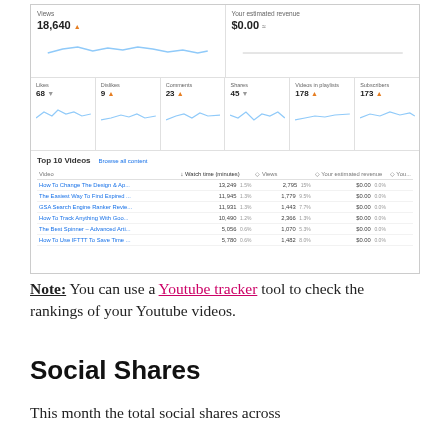[Figure (screenshot): YouTube Analytics dashboard screenshot showing Views (18,640), estimated revenue ($0.00), Likes (68), Dislikes (9), Comments (23), Shares (45), Videos in playlists (178), Subscribers (173), with sparkline charts and a Top 10 Videos table listing video titles with watch time, views, estimated revenue columns.]
Note: You can use a Youtube tracker tool to check the rankings of your Youtube videos.
Social Shares
This month the total social shares across